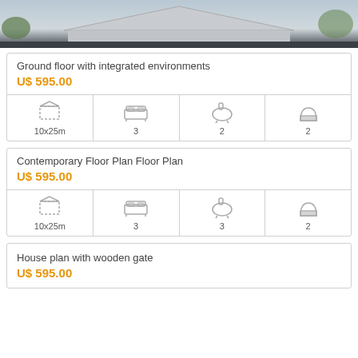[Figure (photo): Top portion of a modern house exterior with pool area, gray roof and sky/garden background]
Ground floor with integrated environments
U$ 595.00
| Area | Bedrooms | Bathrooms | Garage |
| --- | --- | --- | --- |
| 10x25m | 3 | 2 | 2 |
Contemporary Floor Plan Floor Plan
U$ 595.00
| Area | Bedrooms | Bathrooms | Garage |
| --- | --- | --- | --- |
| 10x25m | 3 | 3 | 2 |
House plan with wooden gate
U$ 595.00